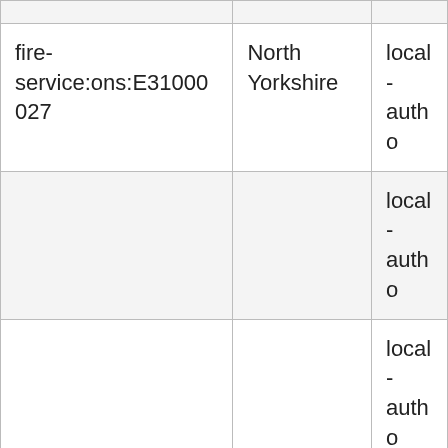| fire-service:ons:E31000027 | North Yorkshire | local-autho |
|  |  | local-autho |
|  |  | local-autho |
|  |  | local-autho |
|  |  | local-autho |
|  |  | local-autho |
|  |  | local-autho |
|  |  | local- |